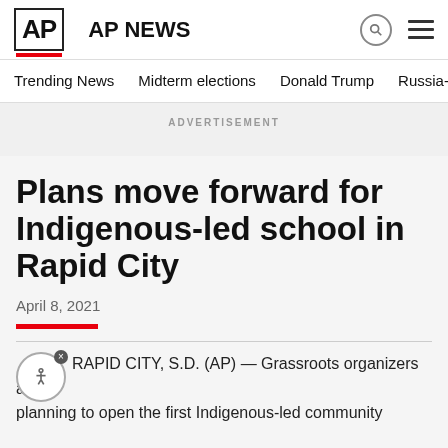AP NEWS
Trending News
Midterm elections
Donald Trump
Russia-Ukr
ADVERTISEMENT
Plans move forward for Indigenous-led school in Rapid City
April 8, 2021
RAPID CITY, S.D. (AP) — Grassroots organizers are planning to open the first Indigenous-led community